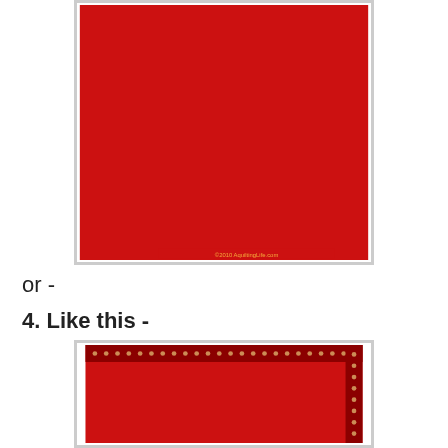[Figure (illustration): Red and tan/beige quilt pattern with repeating leaf/bear paw blocks arranged in a diagonal grid pattern on a red background]
or -
4. Like this -
[Figure (illustration): Red and cream quilt with dotted border and star/leaf blocks in a grid pattern]